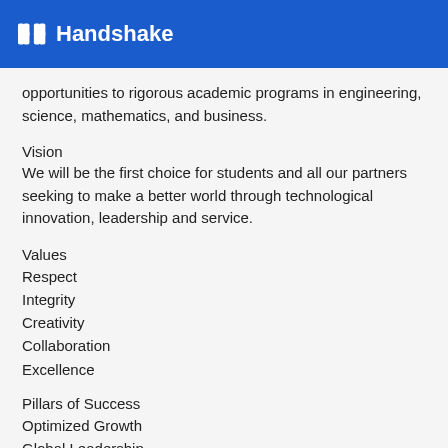Handshake
opportunities to rigorous academic programs in engineering, science, mathematics, and business.
Vision
We will be the first choice for students and all our partners seeking to make a better world through technological innovation, leadership and service.
Values
Respect
Integrity
Creativity
Collaboration
Excellence
Pillars of Success
Optimized Growth
Global Leadership